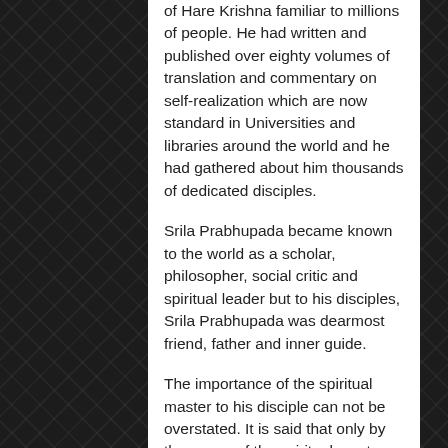of Hare Krishna familiar to millions of people. He had written and published over eighty volumes of translation and commentary on self-realization which are now standard in Universities and libraries around the world and he had gathered about him thousands of dedicated disciples.
Srila Prabhupada became known to the world as a scholar, philosopher, social critic and spiritual leader but to his disciples, Srila Prabhupada was dearmost friend, father and inner guide.
The importance of the spiritual master to his disciple can not be overstated. It is said that only by the mercy of the spiritual master can one receive the benediction of Krishna. And without the grace of the spiritual master one cannot make any